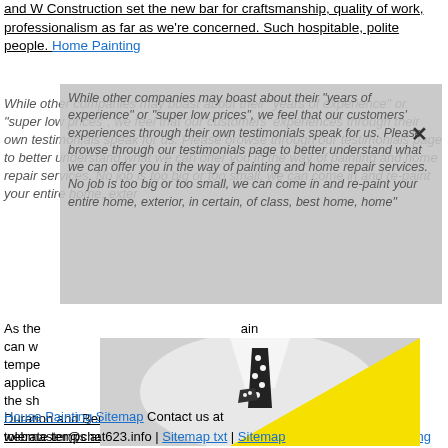and W Construction set the new bar for craftsmanship, quality of work, professionalism as far as we're concerned. Such hospitable, polite people. Home Painting
While other companies may boast about their "years of experience" or "super low prices", we feel that our customers' experiences through their own testimonials speak for us. Please browse through our testimonials page to better understand what we can offer you in the way of painting and home repair services. No job is too big or too small, we can come in and re-paint your entire home, exterior... in certain... of class... best home... home"
[Figure (photo): Black and white photo of a man in a suit with polka dot tie and pocket square, overlaid with a large yellow triangle shape in the lower right]
As the... ain can w... tempe... applic... dull the sh... ms's Duration and Benjamin Moore's MoorGard Low Lustre are formulated to tolerate temps as low as 35 and 40 degrees, respectively.) House Painting
House Painting Sitemap Contact us at webmaster@chat623.info | Sitemap txt | Sitemap